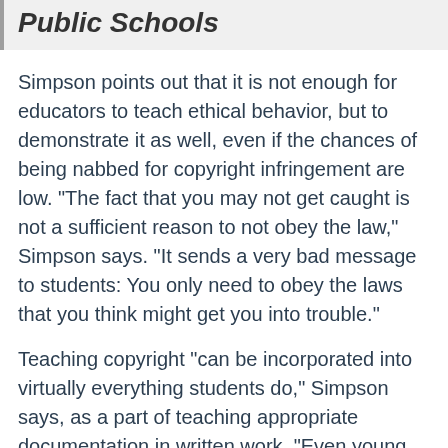Public Schools
Simpson points out that it is not enough for educators to teach ethical behavior, but to demonstrate it as well, even if the chances of being nabbed for copyright infringement are low. "The fact that you may not get caught is not a sufficient reason to not obey the law," Simpson says. "It sends a very bad message to students: You only need to obey the laws that you think might get you into trouble."
Teaching copyright "can be incorporated into virtually everything students do," Simpson says, as a part of teaching appropriate documentation in written work. "Even young elementary students